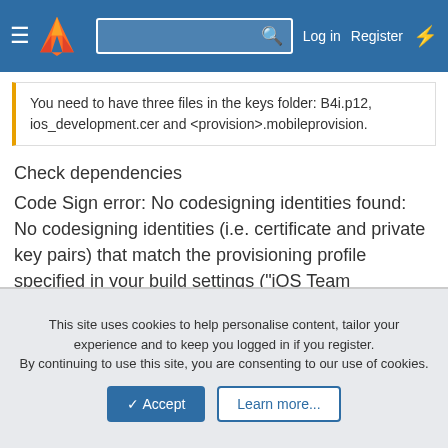[Figure (screenshot): Navigation bar with hamburger menu, GitLab flame logo, search box with magnifier icon, Log in, Register links, and bolt icon on dark blue background]
You need to have three files in the keys folder: B4i.p12, ios_development.cer and <provision>.mobileprovision.
Check dependencies
Code Sign error: No codesigning identities found: No codesigning identities (i.e. certificate and private key pairs) that match the provisioning profile specified in your build settings ("iOS Team Provisioning Profile: *") were found.
CodeSign error: code signing is required for product type 'Application' in SDK 'iOS 8.1'
Does this message mean, I have the wrong b4i.p12?
This site uses cookies to help personalise content, tailor your experience and to keep you logged in if you register.
By continuing to use this site, you are consenting to our use of cookies.